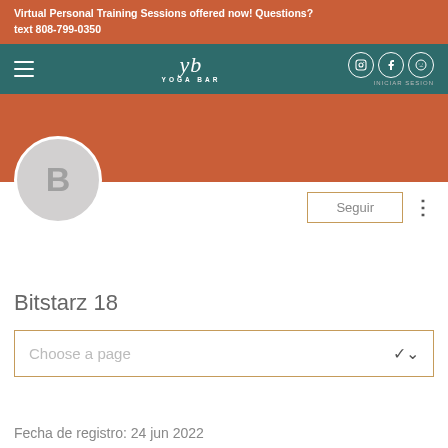Virtual Personal Training Sessions offered now! Questions? text 808-799-0350
[Figure (screenshot): Yoga Bar website navigation bar with hamburger menu, Yoga Bar logo, social media icons (Instagram, Facebook, Spotify), and INICIAR SESION text]
[Figure (screenshot): User profile area showing avatar circle with letter B, Seguir (Follow) button, and three-dot menu]
Bitstarz 18
Choose a page
Fecha de registro: 24 jun 2022